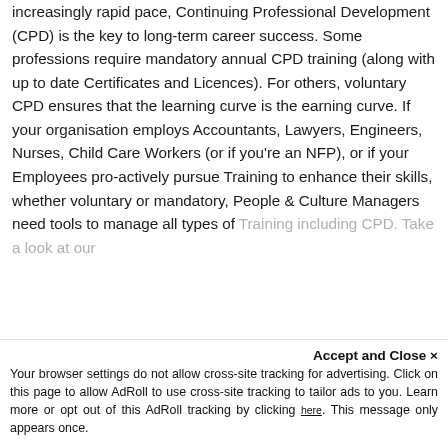increasingly rapid pace, Continuing Professional Development (CPD) is the key to long-term career success. Some professions require mandatory annual CPD training (along with up to date Certificates and Licences). For others, voluntary CPD ensures that the learning curve is the earning curve. If your organisation employs Accountants, Lawyers, Engineers, Nurses, Child Care Workers (or if you're an NFP), or if your Employees pro-actively pursue Training to enhance their skills, whether voluntary or mandatory, People & Culture Managers need tools to manage all types of
Training including CPD. Take a look at our HR...
Accept and Close ×
Your browser settings do not allow cross-site tracking for advertising. Click on this page to allow AdRoll to use cross-site tracking to tailor ads to you. Learn more or opt out of this AdRoll tracking by clicking here. This message only appears once.